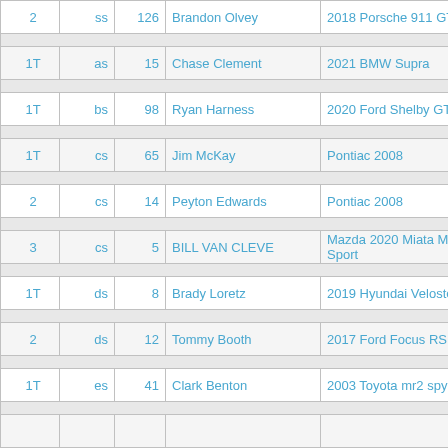| Pos | Cls | # | Name | Car |
| --- | --- | --- | --- | --- |
| 2 | ss | 126 | Brandon Olvey | 2018 Porsche 911 GT3 |
| 1T | as | 15 | Chase Clement | 2021 BMW Supra |
| 1T | bs | 98 | Ryan Harness | 2020 Ford Shelby GT350 |
| 1T | cs | 65 | Jim McKay | Pontiac 2008 |
| 2 | cs | 14 | Peyton Edwards | Pontiac 2008 |
| 3 | cs | 5 | BILL VAN CLEVE | Mazda 2020 Miata MX5 Sport |
| 1T | ds | 8 | Brady Loretz | 2019 Hyundai Veloster N |
| 2 | ds | 12 | Tommy Booth | 2017 Ford Focus RS |
| 1T | es | 41 | Clark Benton | 2003 Toyota mr2 spyder |